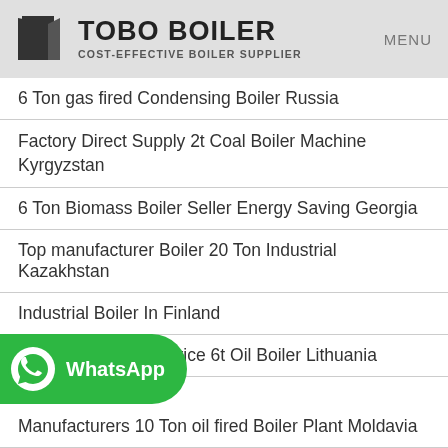TOBO BOILER COST-EFFECTIVE BOILER SUPPLIER MENU
6 Ton gas fired Condensing Boiler Russia
Factory Direct Supply 2t Coal Boiler Machine Kyrgyzstan
6 Ton Biomass Boiler Seller Energy Saving Georgia
Top manufacturer Boiler 20 Ton Industrial Kazakhstan
Industrial Boiler In Finland
Commercial Agent Price 6t Oil Boiler Lithuania
[Figure (logo): WhatsApp button overlay in green]
Manufacturers 10 Ton oil fired Boiler Plant Moldavia